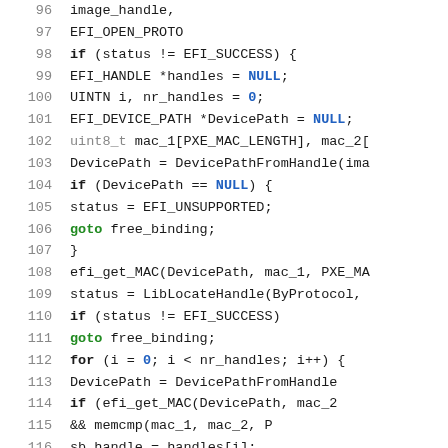[Figure (screenshot): Source code listing lines 96-122, C/C++ code showing EFI handle and device path operations with syntax highlighting: keywords in bold, NULL/0 in blue, goto keyword in green, uint8_t type in gray.]